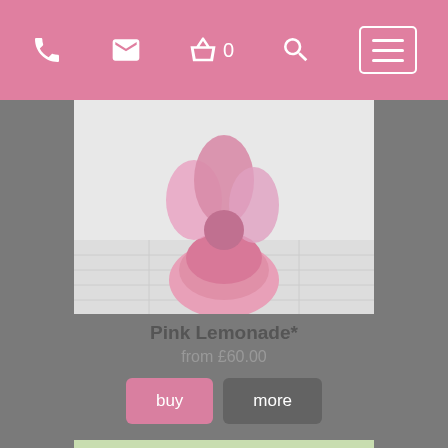Navigation bar with phone, email, basket (0), search, and menu icons
[Figure (photo): Cropped photo of Pink Lemonade flower arrangement wrapped in pink tissue, partially visible at top of first product card]
Pink Lemonade*
from £60.00
buy
more
[Figure (photo): Photo of a bouquet of pink roses and pink/white lilies with green foliage, wrapped in green paper]